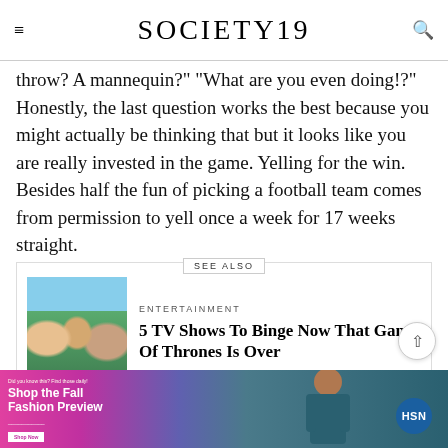SOCIETY19
throw? A mannequin?" "What are you even doing!?" Honestly, the last question works the best because you might actually be thinking that but it looks like you are really invested in the game. Yelling for the win. Besides half the fun of picking a football team comes from permission to yell once a week for 17 weeks straight.
SEE ALSO
[Figure (photo): Three men lying on grass with a blue sky background]
ENTERTAINMENT
5 TV Shows To Binge Now That Game Of Thrones Is Over
[Figure (photo): Advertisement banner: Shop the Fall Fashion Preview - HSN]